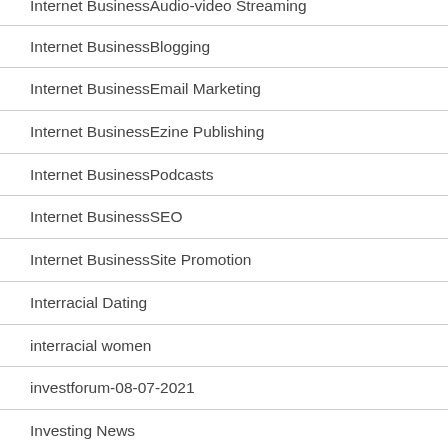Internet BusinessAudio-video Streaming
Internet BusinessBlogging
Internet BusinessEmail Marketing
Internet BusinessEzine Publishing
Internet BusinessPodcasts
Internet BusinessSEO
Internet BusinessSite Promotion
Interracial Dating
interracial women
investforum-08-07-2021
Investing News
Investments